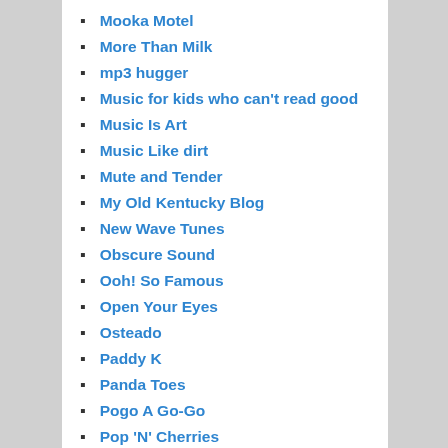Mooka Motel
More Than Milk
mp3 hugger
Music for kids who can't read good
Music Is Art
Music Like dirt
Mute and Tender
My Old Kentucky Blog
New Wave Tunes
Obscure Sound
Ooh! So Famous
Open Your Eyes
Osteado
Paddy K
Panda Toes
Pogo A Go-Go
Pop 'N' Cherries
Pop Cultureddd
Post Punk Progressive Pop Party
Postpunk Junk
Pretending Life Is Like A Song